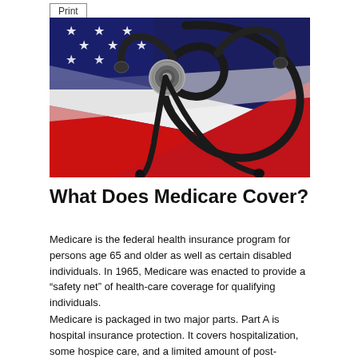[Figure (photo): A stethoscope resting on an American flag with red, white, and blue colors visible.]
What Does Medicare Cover?
Medicare is the federal health insurance program for persons age 65 and older as well as certain disabled individuals. In 1965, Medicare was enacted to provide a “safety net” of health-care coverage for qualifying individuals.
Medicare is packaged in two major parts. Part A is hospital insurance protection. It covers hospitalization, some hospice care, and a limited amount of post-hospital skilled nursing and home health care